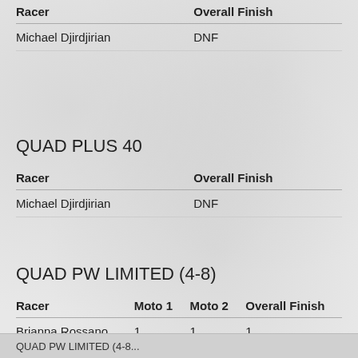| Racer | Overall Finish |
| --- | --- |
| Michael Djirdjirian | DNF |
QUAD PLUS 40
| Racer | Overall Finish |
| --- | --- |
| Michael Djirdjirian | DNF |
QUAD PW LIMITED (4-8)
| Racer | Moto 1 | Moto 2 | Overall Finish |
| --- | --- | --- | --- |
| Brianna Rossano | 1 | 1 | 1 |
QUAD PW LIMITED (4-8...